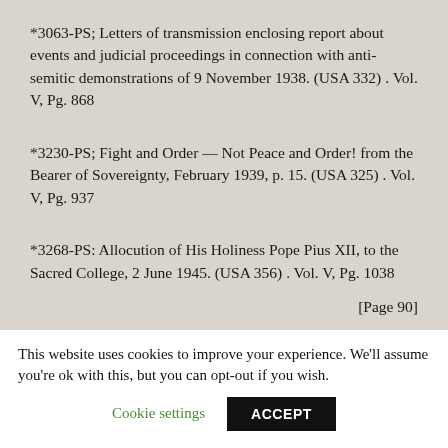*3063-PS; Letters of transmission enclosing report about events and judicial proceedings in connection with anti-semitic demonstrations of 9 November 1938. (USA 332) . Vol. V, Pg. 868
*3230-PS; Fight and Order — Not Peace and Order! from the Bearer of Sovereignty, February 1939, p. 15. (USA 325) . Vol. V, Pg. 937
*3268-PS: Allocution of His Holiness Pope Pius XII, to the Sacred College, 2 June 1945. (USA 356) . Vol. V, Pg. 1038
[Page 90]
This website uses cookies to improve your experience. We'll assume you're ok with this, but you can opt-out if you wish.